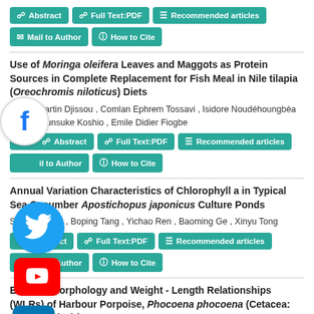Abstract | Full Text:PDF | Recommended articles
Mail to Author | How to Cite
Use of Moringa oleifera Leaves and Maggots as Protein Sources in Complete Replacement for Fish Meal in Nile tilapia (Oreochromis niloticus) Diets
Sèdjro Martin Djissou , Comlan Ephrem Tossavi , Isidore Noudéhoungbèa Odjo , Shunsuke Koshio , Emile Didier Fiogbe
Abstract | Full Text:PDF | Recommended articles
Mail to Author | How to Cite
Annual Variation Characteristics of Chlorophyll a in Typical Sea Cucumber Apostichopus japonicus Culture Ponds
Senhao Jiang , Boping Tang , Yichao Ren , Baoming Ge , Xinyu Tong
Abstract | Full Text:PDF | Recommended articles
Mail to Author | How to Cite
External Morphology and Weight - Length Relationships (WLRs) of Harbour Porpoise, Phocoena phocoena (Cetacea: Phocoenidae) in